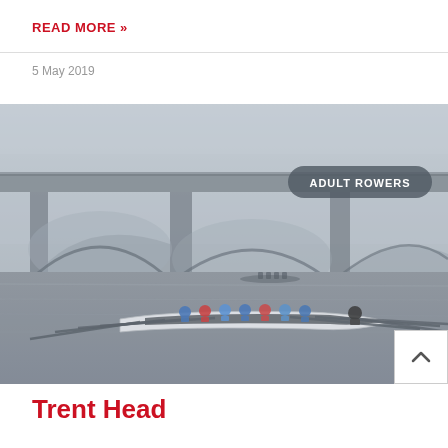READ MORE »
5 May 2019
[Figure (photo): Rowing crew in a long boat on a misty river, with a large stone bridge with arches in the foggy background. Multiple rowers in colourful clothing are visible. An 'ADULT ROWERS' badge label appears in the upper right of the image.]
Trent Head